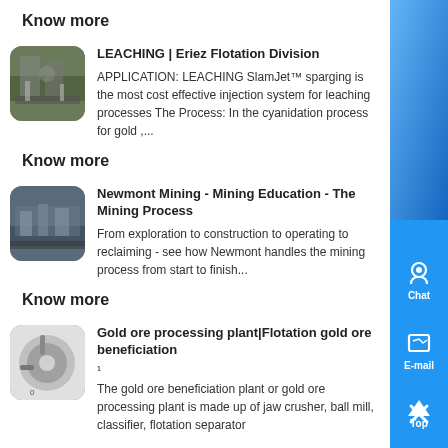Know more
LEACHING | Eriez Flotation Division
APPLICATION: LEACHING SlamJet™ sparging is the most cost effective injection system for leaching processes The Process: In the cyanidation process for gold ,...
Know more
Newmont Mining - Mining Education - The Mining Process
From exploration to construction to operating to reclaiming - see how Newmont handles the mining process from start to finish...
Know more
Gold ore processing plant|Flotation gold ore beneficiation
The gold ore beneficiation plant or gold ore processing plant is made up of jaw crusher, ball mill, classifier, flotation separator